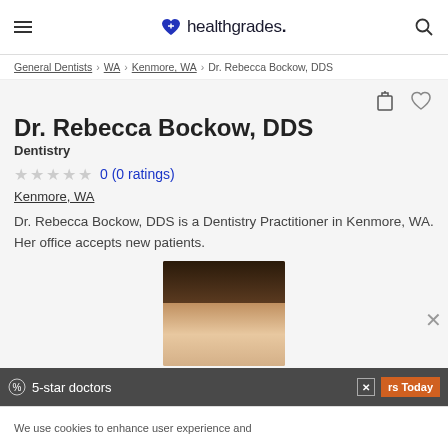healthgrades.
General Dentists > WA > Kenmore, WA > Dr. Rebecca Bockow, DDS
Dr. Rebecca Bockow, DDS
Dentistry
0 (0 ratings)
Kenmore, WA
Dr. Rebecca Bockow, DDS is a Dentistry Practitioner in Kenmore, WA. Her office accepts new patients.
[Figure (photo): Headshot photo of Dr. Rebecca Bockow, a woman with blonde hair]
5-star doctors
We use cookies to enhance user experience and